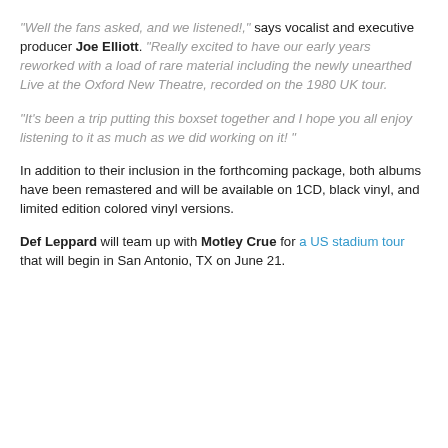“Well the fans asked, and we listened!,” says vocalist and executive producer Joe Elliott. “Really excited to have our early years reworked with a load of rare material including the newly unearthed Live at the Oxford New Theatre, recorded on the 1980 UK tour.
“It’s been a trip putting this boxset together and I hope you all enjoy listening to it as much as we did working on it! ”
In addition to their inclusion in the forthcoming package, both albums have been remastered and will be available on 1CD, black vinyl, and limited edition colored vinyl versions.
Def Leppard will team up with Motley Crue for a US stadium tour that will begin in San Antonio, TX on June 21.